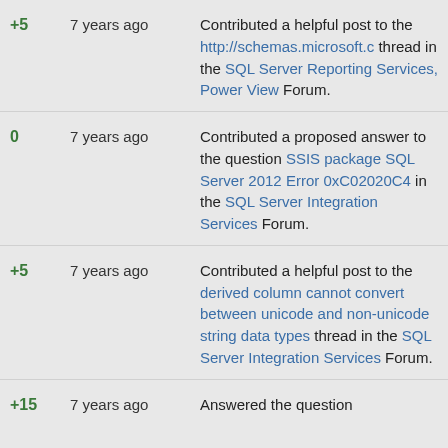+5 | 7 years ago | Contributed a helpful post to the http://schemas.microsoft.c thread in the SQL Server Reporting Services, Power View Forum.
0 | 7 years ago | Contributed a proposed answer to the question SSIS package SQL Server 2012 Error 0xC02020C4 in the SQL Server Integration Services Forum.
+5 | 7 years ago | Contributed a helpful post to the derived column cannot convert between unicode and non-unicode string data types thread in the SQL Server Integration Services Forum.
+15 | 7 years ago | Answered the question